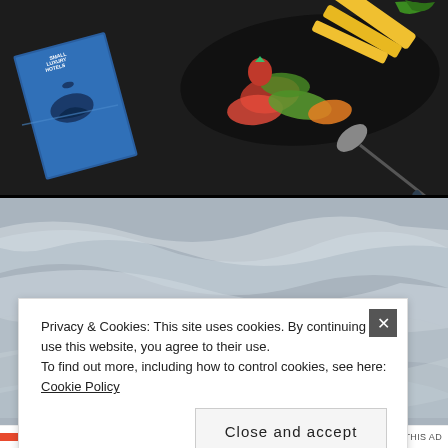[Figure (photo): Top-down view of a dark table with a book titled 'Small Luxury Hotels' featuring a whale/dolphin on the cover, a black plate with sliced tropical fruits including pineapple, watermelon, and strawberries, and a metal fruit peeler tool.]
[Figure (photo): Aerial or wide-angle photograph of a cloudy sky with textured cloud formations in grey and white tones.]
Privacy & Cookies: This site uses cookies. By continuing to use this website, you agree to their use.
To find out more, including how to control cookies, see here: Cookie Policy
Close and accept